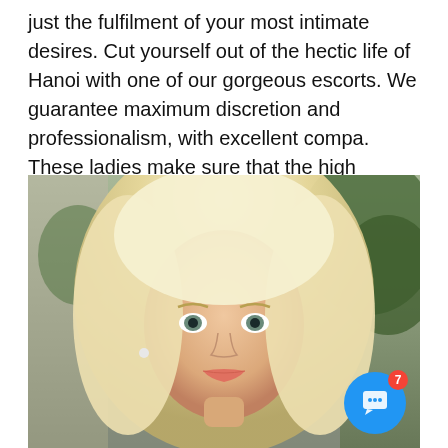just the fulfilment of your most intimate desires. Cut yourself out of the hectic life of Hanoi with one of our gorgeous escorts. We guarantee maximum discretion and professionalism, with excellent compa. These ladies make sure that the high standards are met.
[Figure (photo): Portrait photo of a blonde woman with light eyes, smiling, with green foliage in the background. A chat widget button with a smiley face icon and a red badge showing '7' is overlaid in the bottom-right corner.]